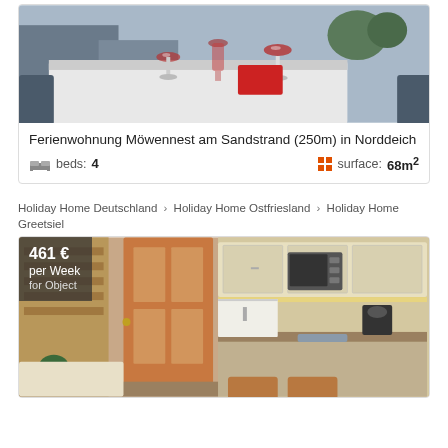[Figure (photo): Outdoor table with red wine glasses and a carafe, terrace setting]
Ferienwohnung Möwennest am Sandstrand (250m) in Norddeich
beds: 4    surface: 68m²
Holiday Home Deutschland › Holiday Home Ostfriesland › Holiday Home Greetsiel
[Figure (photo): Interior of a holiday apartment showing kitchen area with wooden furniture and appliances. Price badge shows 461 € per Week for Object.]